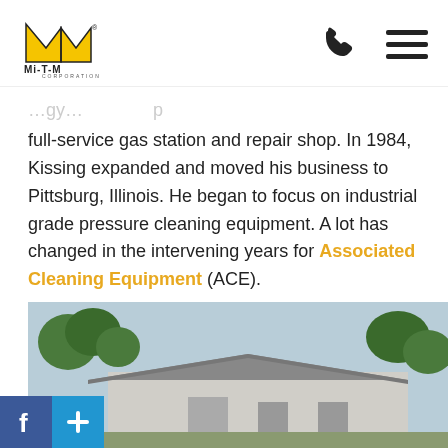Mi-T-M Corporation logo, phone icon, menu icon
full-service gas station and repair shop. In 1984, Kissing expanded and moved his business to Pittsburg, Illinois. He began to focus on industrial grade pressure cleaning equipment. A lot has changed in the intervening years for Associated Cleaning Equipment (ACE).
[Figure (photo): Exterior photo of a building with trees in the background and a grey metal roof, partially visible.]